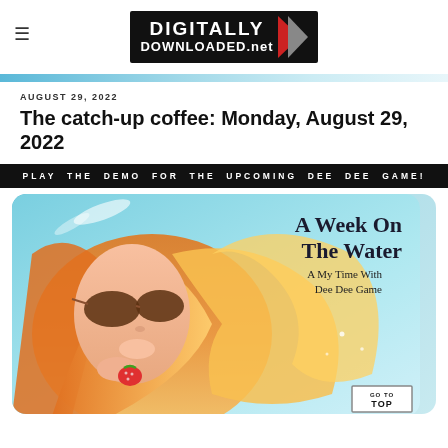DIGITALLY DOWNLOADED.net
AUGUST 29, 2022
The catch-up coffee: Monday, August 29, 2022
PLAY THE DEMO FOR THE UPCOMING DEE DEE GAME!
[Figure (illustration): Anime-style girl with orange hair and sunglasses holding a strawberry, with text 'A Week On The Water — A My Time With Dee Dee Game' on a teal background]
GO TO TOP